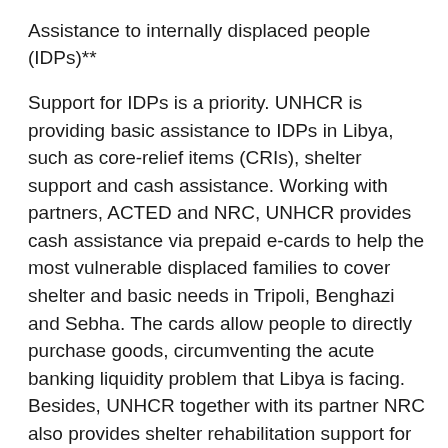Assistance to internally displaced people (IDPs)**
Support for IDPs is a priority. UNHCR is providing basic assistance to IDPs in Libya, such as core-relief items (CRIs), shelter support and cash assistance. Working with partners, ACTED and NRC, UNHCR provides cash assistance via prepaid e-cards to help the most vulnerable displaced families to cover shelter and basic needs in Tripoli, Benghazi and Sebha. The cards allow people to directly purchase goods, circumventing the acute banking liquidity problem that Libya is facing. Besides, UNHCR together with its partner NRC also provides shelter rehabilitation support for the most vulnerable IDPs, as well as core-relief items through the Libyan Humanitarian Relief Agency (LibAid) to IDPs, IDP returnees and affected host communities across Libya.
UNHCR continues to implement quick impact projects